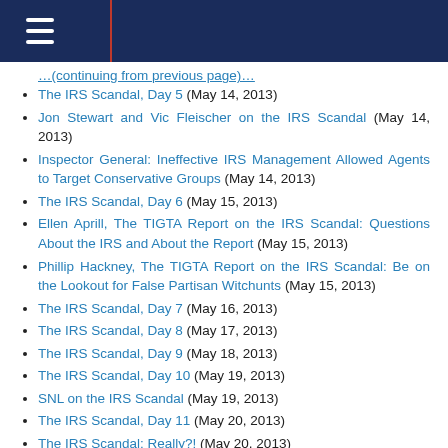The IRS Scandal, Day 5 (May 14, 2013)
Jon Stewart and Vic Fleischer on the IRS Scandal (May 14, 2013)
Inspector General: Ineffective IRS Management Allowed Agents to Target Conservative Groups (May 14, 2013)
The IRS Scandal, Day 6 (May 15, 2013)
Ellen Aprill, The TIGTA Report on the IRS Scandal: Questions About the IRS and About the Report (May 15, 2013)
Phillip Hackney, The TIGTA Report on the IRS Scandal: Be on the Lookout for False Partisan Witchunts (May 15, 2013)
The IRS Scandal, Day 7 (May 16, 2013)
The IRS Scandal, Day 8 (May 17, 2013)
The IRS Scandal, Day 9 (May 18, 2013)
The IRS Scandal, Day 10 (May 19, 2013)
SNL on the IRS Scandal (May 19, 2013)
The IRS Scandal, Day 11 (May 20, 2013)
The IRS Scandal: Really?! (May 20, 2013)
The IRS Scandal, Day 12 (May 21, 2013)